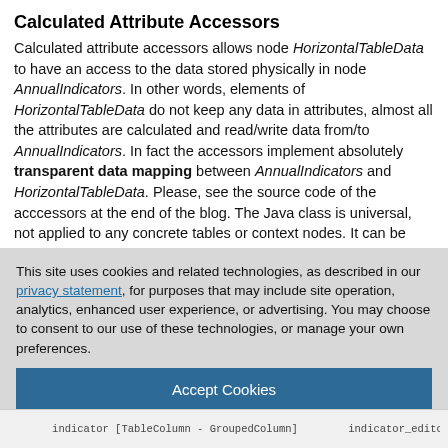Calculated Attribute Accessors
Calculated attribute accessors allows node HorizontalTableData to have an access to the data stored physically in node AnnualIndicators. In other words, elements of HorizontalTableData do not keep any data in attributes, almost all the attributes are calculated and read/write data from/to AnnualIndicators. In fact the accessors implement absolutely transparent data mapping between AnnualIndicators and HorizontalTableData. Please, see the source code of the acccessors at the end of the blog. The Java class is universal, not applied to any concrete tables or context nodes. It can be
This site uses cookies and related technologies, as described in our privacy statement, for purposes that may include site operation, analytics, enhanced user experience, or advertising. You may choose to consent to our use of these technologies, or manage your own preferences.
Accept Cookies
More Information
Privacy Policy | Powered by: TrustArc
indicator [TableColumn - GroupedColumn]  indicator_editor [TextView - TableCellEditor]